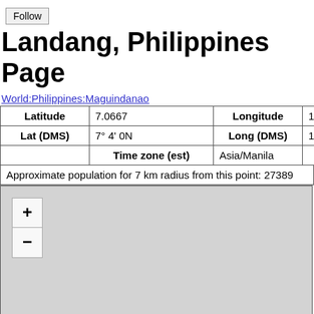Follow
Landang, Philippines Page
World:Philippines:Maguindanao
| Latitude | 7.0667 | Longitude | 124.6500 |
| --- | --- | --- | --- |
| Lat (DMS) | 7° 4' 0N | Long (DMS) | 124° 39' 0E |
|  | Time zone (est) | Asia/Manila |  |
Approximate population for 7 km radius from this point: 27389
[Figure (map): Interactive map with zoom in (+) and zoom out (-) controls, showing a grey placeholder map area for Landang, Philippines.]